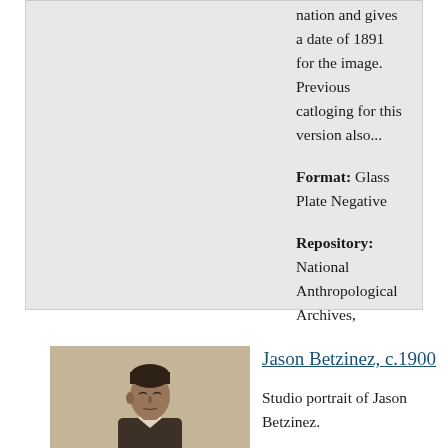nation and gives a date of 1891 for the image. Previous catloging for this version also...
Format: Glass Plate Negative
Repository: National Anthropological Archives, Smithsonian Institution
[Figure (photo): Studio portrait photograph of Jason Betzinez, sepia-toned, man in dark suit with white collar, c.1900]
Jason Betzinez, c.1900
Studio portrait of Jason Betzinez.